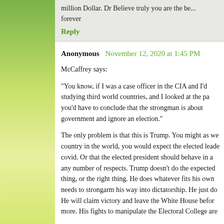million Dollar. Dr Believe truly you are the be... forever
Reply
Anonymous November 12, 2020 at 1:45 PM
McCaffrey says:
"You know, if I was a case officer in the CIA and I'd studying third world countries, and I looked at the pa you'd have to conclude that the strongman is about government and ignore an election."
The only problem is that this is Trump. You might as we country in the world, you would expect the elected leade covid. Or that the elected president should behave in a any number of respects. Trump doesn't do the expected thing, or the right thing. He does whatever fits his own needs to strongarm his way into dictatorship. He just do He will claim victory and leave the White House befor more. His fights to manipulate the Electoral College are